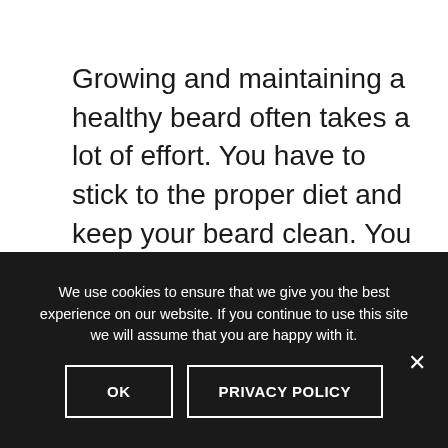Growing and maintaining a healthy beard often takes a lot of effort. You have to stick to the proper diet and keep your beard clean. You should also nourish and hydrate your beard using beard oil. For heavy-duty moisturizing and nourishment, you can use beard balm, which has a thicker
We use cookies to ensure that we give you the best experience on our website. If you continue to use this site we will assume that you are happy with it.